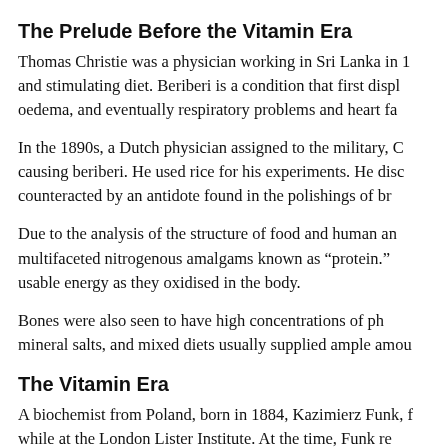The Prelude Before the Vitamin Era
Thomas Christie was a physician working in Sri Lanka in 1 and stimulating diet. Beriberi is a condition that first displ oedema, and eventually respiratory problems and heart fa
In the 1890s, a Dutch physician assigned to the military, C causing beriberi. He used rice for his experiments. He disc counteracted by an antidote found in the polishings of br
Due to the analysis of the structure of food and human an multifaceted nitrogenous amalgams known as “protein.” usable energy as they oxidised in the body.
Bones were also seen to have high concentrations of ph mineral salts, and mixed diets usually supplied ample amou
The Vitamin Era
A biochemist from Poland, born in 1884, Kazimierz Funk, f while at the London Lister Institute. At the time, Funk re